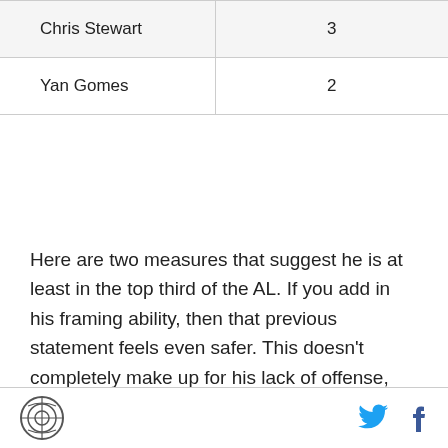| Chris Stewart | 3 |
| Yan Gomes | 2 |
Here are two measures that suggest he is at least in the top third of the AL. If you add in his framing ability, then that previous statement feels even safer. This doesn't completely make up for his lack of offense, but that clearly was never in the plan at the beginning of the season. The injuries, and the lack of viable replacements, exposed the underbelly of the Yankee organization's offensive talent. Chris Stewart was never part of that plan. It was to focus on run prevention, and there is evidence to suggest he's been
[logo] [twitter] [facebook]